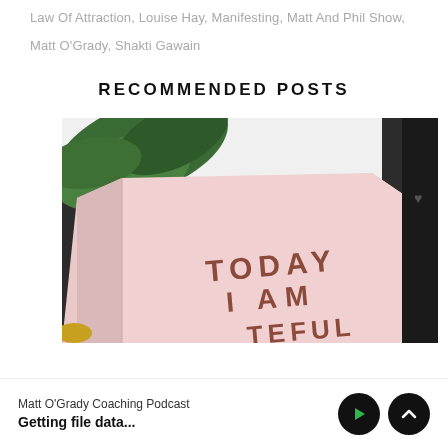Law Of Attraction, Louise Hay, Manifesting, Matt And Phil Show,
Matt O'Grady, Shakti Gawain
RECOMMENDED POSTS
[Figure (photo): Close-up photo of a pink journal/notebook with the text 'TODAY I AM' and partially visible 'TEFUL' (grateful), with a green leaf in the upper left corner and a dark background on the right.]
Matt O'Grady Coaching Podcast
Getting file data...